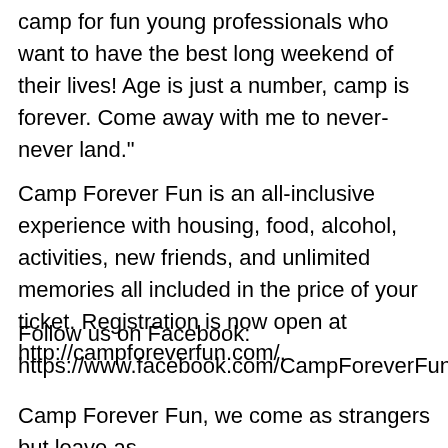camp for fun young professionals who want to have the best long weekend of their lives! Age is just a number, camp is forever. Come away with me to never-never land."
Camp Forever Fun is an all-inclusive experience with housing, food, alcohol, activities, new friends, and unlimited memories all included in the price of your ticket. Registration is now open at http://campforeverfun.com/.
Follow us on Facebook: https://www.facebook.com/CampForeverFun/.
Camp Forever Fun, we come as strangers but leave as